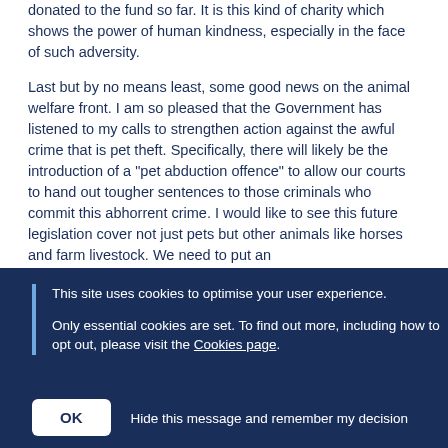donated to the fund so far. It is this kind of charity which shows the power of human kindness, especially in the face of such adversity.
Last but by no means least, some good news on the animal welfare front. I am so pleased that the Government has listened to my calls to strengthen action against the awful crime that is pet theft. Specifically, there will likely be the introduction of a "pet abduction offence" to allow our courts to hand out tougher sentences to those criminals who commit this abhorrent crime. I would like to see this future legislation cover not just pets but other animals like horses and farm livestock. We need to put an
This site uses cookies to optimise your user experience.
Only essential cookies are set. To find out more, including how to opt out, please visit the Cookies page.
OK   Hide this message and remember my decision